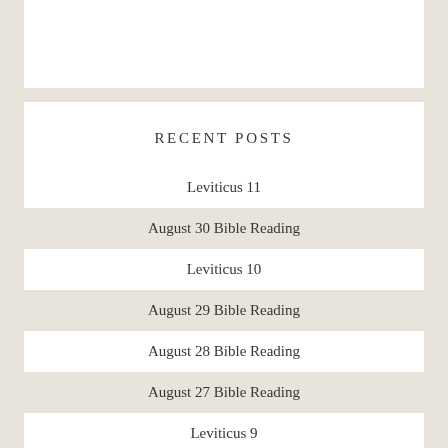RECENT POSTS
Leviticus 11
August 30 Bible Reading
Leviticus 10
August 29 Bible Reading
August 28 Bible Reading
August 27 Bible Reading
Leviticus 9